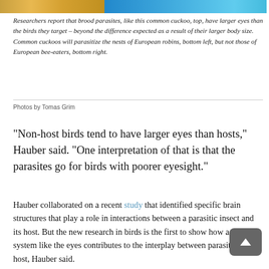[Figure (photo): Cropped top edge of photo showing birds: cuckoo top (yellow/orange feathers) and European bee-eater bottom right (blue/teal feathers)]
Researchers report that brood parasites, like this common cuckoo, top, have larger eyes than the birds they target – beyond the difference expected as a result of their larger body size. Common cuckoos will parasitize the nests of European robins, bottom left, but not those of European bee-eaters, bottom right.
Photos by Tomas Grim
“Non-host birds tend to have larger eyes than hosts,” Hauber said. “One interpretation of that is that the parasites go for birds with poorer eyesight.”
Hauber collaborated on a recent study that identified specific brain structures that play a role in interactions between a parasitic insect and its host. But the new research in birds is the first to show how a sensory system like the eyes contributes to the interplay between parasite and host, Hauber said.
These findings are a major step toward understanding